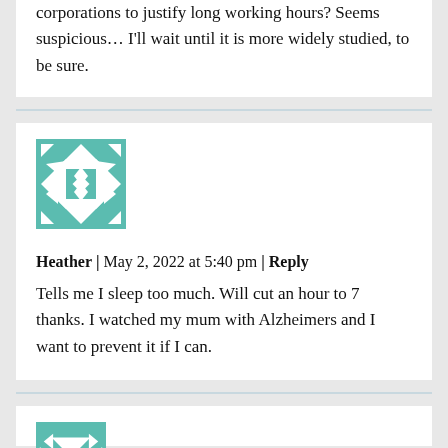corporations to justify long working hours? Seems suspicious… I'll wait until it is more widely studied, to be sure.
[Figure (illustration): Teal and white geometric quilt-pattern avatar for user Heather]
Heather | May 2, 2022 at 5:40 pm | Reply
Tells me I sleep too much. Will cut an hour to 7 thanks. I watched my mum with Alzheimers and I want to prevent it if I can.
[Figure (illustration): Partial teal geometric avatar visible at bottom for next commenter]